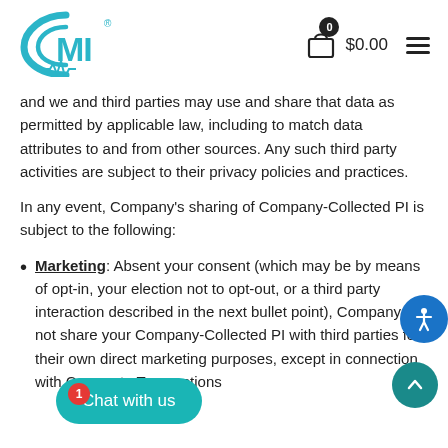[Figure (logo): CMI Health logo with teal circular design and HEALTH text below]
and we and third parties may use and share that data as permitted by applicable law, including to match data attributes to and from other sources. Any such third party activities are subject to their privacy policies and practices.
In any event, Company's sharing of Company-Collected PI is subject to the following:
Marketing: Absent your consent (which may be by means of opt-in, your election not to opt-out, or a third party interaction described in the next bullet point), Company will not share your Company-Collected PI with third parties for their own direct marketing purposes, except in connection with Corporate Transactions